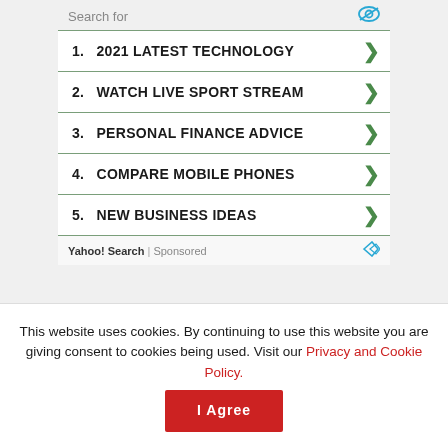Search for
1. 2021 LATEST TECHNOLOGY
2. WATCH LIVE SPORT STREAM
3. PERSONAL FINANCE ADVICE
4. COMPARE MOBILE PHONES
5. NEW BUSINESS IDEAS
Yahoo! Search | Sponsored
This website uses cookies. By continuing to use this website you are giving consent to cookies being used. Visit our Privacy and Cookie Policy.